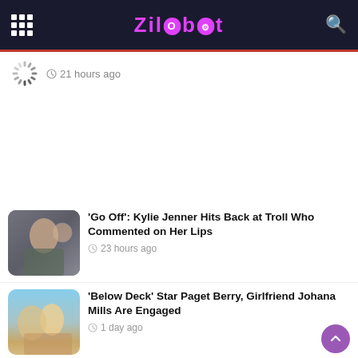Zilobot
21 hours ago
'Go Off': Kylie Jenner Hits Back at Troll Who Commented on Her Lips
23 hours ago
'Below Deck' Star Paget Berry, Girlfriend Johana Mills Are Engaged
1 day ago
Jill Duggar Details 'Horrible' Pain Before